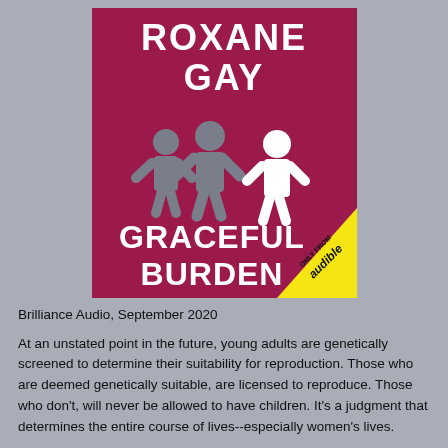[Figure (illustration): Book cover for 'Graceful Burden' by Roxane Gay. Dark magenta/crimson background. Author name 'ROXANE GAY' in large white bold text at top. Three paper-doll-style human figures in the center (two grey, one white). Title 'GRACEFUL BURDEN' in large white bold text at bottom. Yellow diagonal banner in bottom-right corner with 'ONLY FROM audible' text.]
Brilliance Audio, September 2020
At an unstated point in the future, young adults are genetically screened to determine their suitability for reproduction. Those who are deemed genetically suitable, are licensed to reproduce. Those who don't, will never be allowed to have children. It's a judgment that determines the entire course of lives--especially women's lives.
Hadley is an unlicensed woman, working a poorly paid job